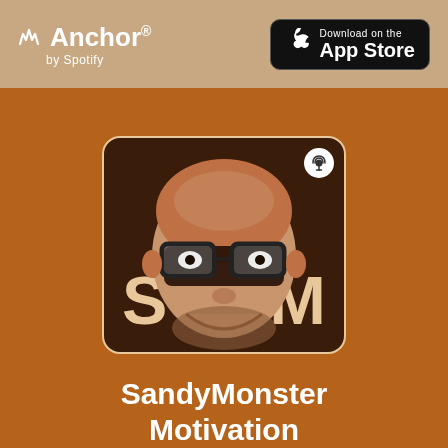[Figure (logo): Anchor by Spotify logo — waveform icon with text Anchor and 'by Spotify' below]
[Figure (logo): Download on the App Store badge with Apple logo]
[Figure (illustration): Podcast cover art: dark brown rounded square with 'SM' letters and a man's face with glasses overlaid, small podcast badge in top-right corner]
SandyMonster Motivation